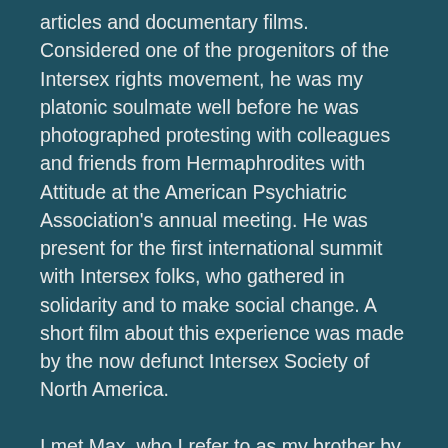articles and documentary films. Considered one of the progenitors of the Intersex rights movement, he was my platonic soulmate well before he was photographed protesting with colleagues and friends from Hermaphrodites with Attitude at the American Psychiatric Association's annual meeting. He was present for the first international summit with Intersex folks, who gathered in solidarity and to make social change. A short film about this experience was made by the now defunct Intersex Society of North America.
I met Max, who I refer to as my brother by energy not by birth, when we were 18. The first time we drank too much was with each other. We read many of the same fringe books and also swapped recommendations. Before his life in Atlanta, he lived for a time in Philly, when I was still in New York City. We visited each other in our respective cities, every